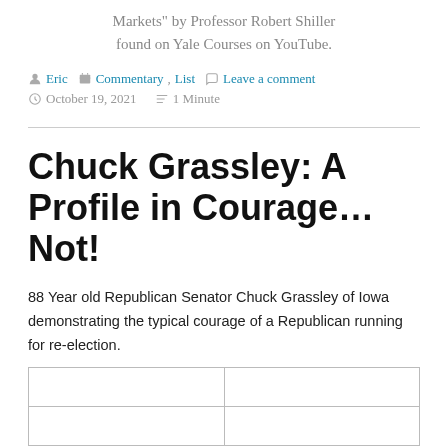Markets” by Professor Robert Shiller found on Yale Courses on YouTube.
Eric  Commentary, List  Leave a comment  October 19, 2021  1 Minute
Chuck Grassley: A Profile in Courage…Not!
88 Year old Republican Senator Chuck Grassley of Iowa demonstrating the typical courage of a Republican running for re-election.
|  |  |
|  |  |